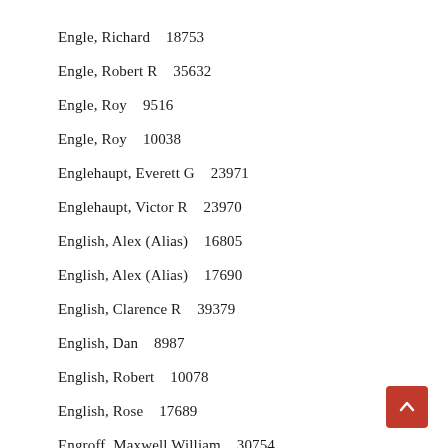Engle, Richard   18753
Engle, Robert R   35632
Engle, Roy   9516
Engle, Roy   10038
Englehaupt, Everett G   23971
Englehaupt, Victor R   23970
English, Alex (Alias)   16805
English, Alex (Alias)   17690
English, Clarence R   39379
English, Dan   8987
English, Robert   10078
English, Rose   17689
Engroff, Maxwell William   30754